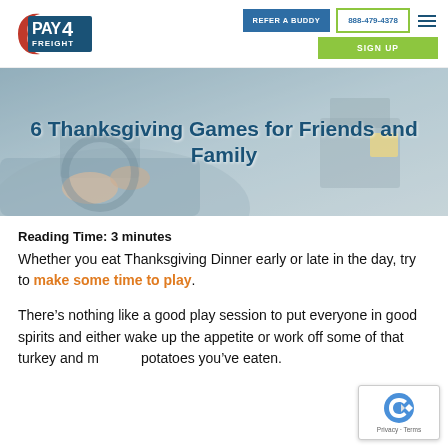PAY4FREIGHT logo | REFER A BUDDY | 888-479-4378 | SIGN UP
[Figure (screenshot): Website header with Pay4Freight logo, Refer a Buddy button, phone number 888-479-4378, and Sign Up button]
6 Thanksgiving Games for Friends and Family
Reading Time: 3 minutes
Whether you eat Thanksgiving Dinner early or late in the day, try to make some time to play.
There’s nothing like a good play session to put everyone in good spirits and either wake up the appetite or work off some of that turkey and mashed potatoes you’ve eaten.